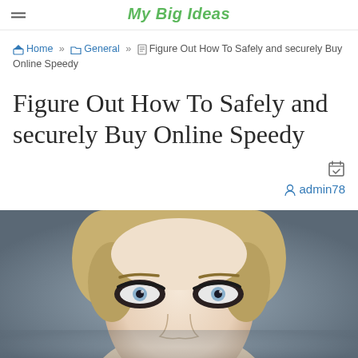My Big Ideas
Home » General » Figure Out How To Safely and securely Buy Online Speedy
Figure Out How To Safely and securely Buy Online Speedy
admin78
[Figure (photo): Close-up photo of a blonde woman's face with blue eyes and dark eye makeup against a grey background, cropped to show eyes and upper face]